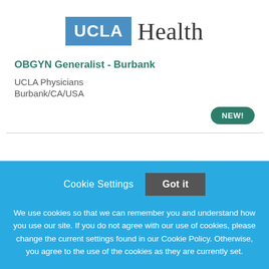[Figure (logo): UCLA Health logo — blue box with white UCLA text next to black serif Health text]
OBGYN Generalist - Burbank
UCLA Physicians
Burbank/CA/USA
NEW!
Cookie Settings   Got it
We use cookies so that we can remember you and understand how you use our site. If you do not agree with our use of cookies, please change the current settings found in our Cookie Policy. Otherwise, you agree to the use of the cookies as they are currently set.